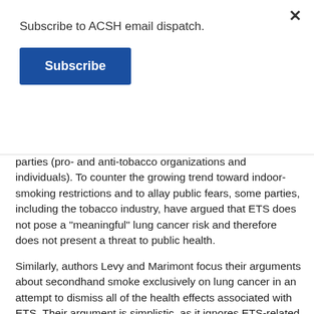Subscribe to ACSH email dispatch.
Subscribe
parties (pro- and anti-tobacco organizations and individuals). To counter the growing trend toward indoor-smoking restrictions and to allay public fears, some parties, including the tobacco industry, have argued that ETS does not pose a "meaningful" lung cancer risk and therefore does not present a threat to public health.
Similarly, authors Levy and Marimont focus their arguments about secondhand smoke exclusively on lung cancer in an attempt to dismiss all of the health effects associated with ETS. Their argument is simplistic, as it ignores ETS-related health risks other than lung cancer that should also be considered when developing public health policy heart disease and respiratory illnesses, for example.